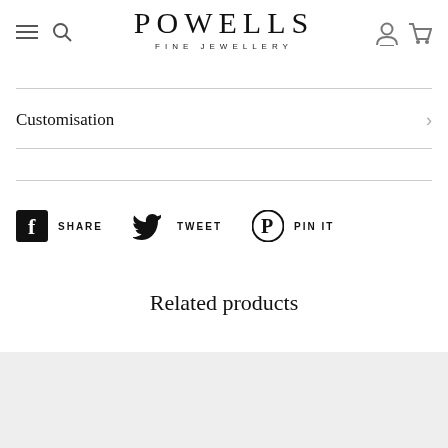POWELLS FINE JEWELLERY
Customisation
SHARE   TWEET   PIN IT
Related products